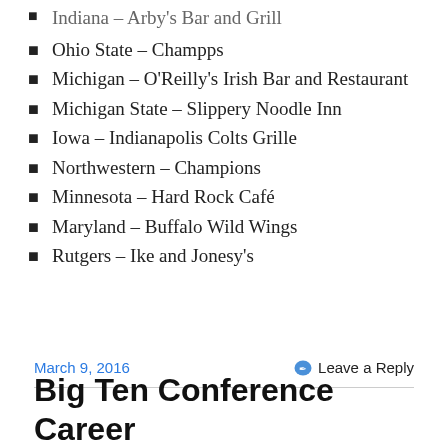Indiana – Arby's Bar and Grill (partial, cut off at top)
Ohio State – Champps
Michigan – O'Reilly's Irish Bar and Restaurant
Michigan State – Slippery Noodle Inn
Iowa – Indianapolis Colts Grille
Northwestern – Champions
Minnesota – Hard Rock Café
Maryland – Buffalo Wild Wings
Rutgers – Ike and Jonesy's
March 9, 2016
Leave a Reply
Big Ten Conference Career